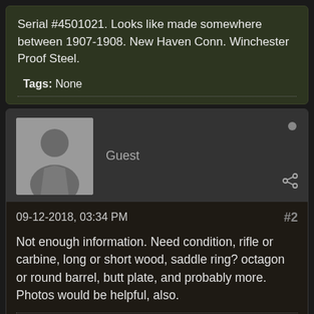Serial #4501021. Looks like made somewhere between 1907-1908. New Haven Conn. Winchester Proof Steel.
Tags: None
Guest
09-12-2018, 03:34 PM
#2
Not enough information. Need condition, rifle or carbine, long or short wood, saddle ring? octagon or round barrel, butt plate, and probably more. Photos would be helpful, also.